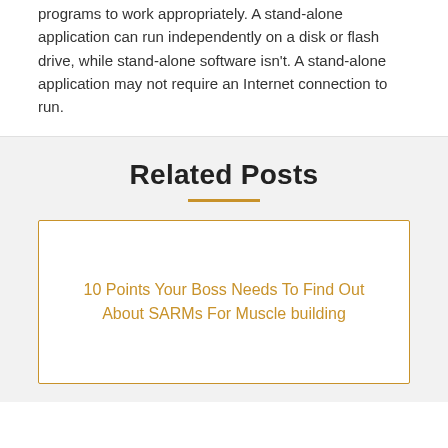programs to work appropriately. A stand-alone application can run independently on a disk or flash drive, while stand-alone software isn't. A stand-alone application may not require an Internet connection to run.
Related Posts
10 Points Your Boss Needs To Find Out About SARMs For Muscle building